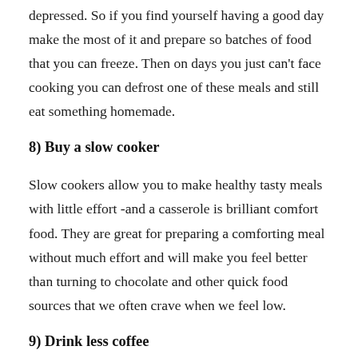depressed. So if you find yourself having a good day make the most of it and prepare so batches of food that you can freeze. Then on days you just can't face cooking you can defrost one of these meals and still eat something homemade.
8) Buy a slow cooker
Slow cookers allow you to make healthy tasty meals with little effort -and a casserole is brilliant comfort food. They are great for preparing a comforting meal without much effort and will make you feel better than turning to chocolate and other quick food sources that we often crave when we feel low.
9) Drink less coffee